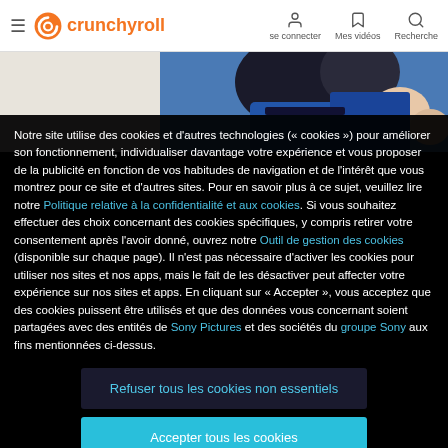crunchyroll — se connecter | Mes vidéos | Recherche
[Figure (screenshot): Anime screenshot showing a character in blue clothing, partial view]
Notre site utilise des cookies et d'autres technologies (« cookies ») pour améliorer son fonctionnement, individualiser davantage votre expérience et vous proposer de la publicité en fonction de vos habitudes de navigation et de l'intérêt que vous montrez pour ce site et d'autres sites. Pour en savoir plus à ce sujet, veuillez lire notre Politique relative à la confidentialité et aux cookies. Si vous souhaitez effectuer des choix concernant des cookies spécifiques, y compris retirer votre consentement après l'avoir donné, ouvrez notre Outil de gestion des cookies (disponible sur chaque page). Il n'est pas nécessaire d'activer les cookies pour utiliser nos sites et nos apps, mais le fait de les désactiver peut affecter votre expérience sur nos sites et apps. En cliquant sur « Accepter », vous acceptez que des cookies puissent être utilisés et que des données vous concernant soient partagées avec des entités de Sony Pictures et des sociétés du groupe Sony aux fins mentionnées ci-dessus.
Refuser tous les cookies non essentiels
Accepter tous les cookies